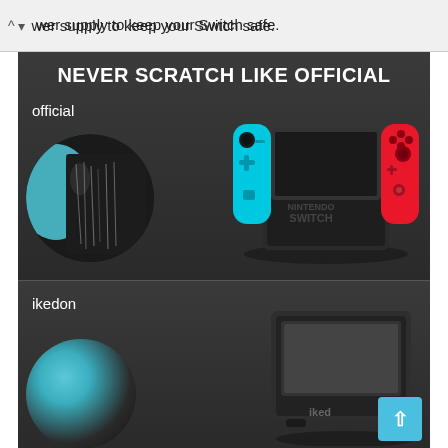power supply to keep your Switch safe.
[Figure (photo): Nintendo Switch console in dock with neon blue and red Joy-Con controllers, with a circular inset showing scratches on the official dock — labeled 'NEVER SCRATCH LIKE OFFICIAL' with 'official' label]
[Figure (photo): ikedon brand replacement dock for Nintendo Switch, with circular inset showing no scratch protection, partially visible 'ikedon' branding — labeled 'ikedon']